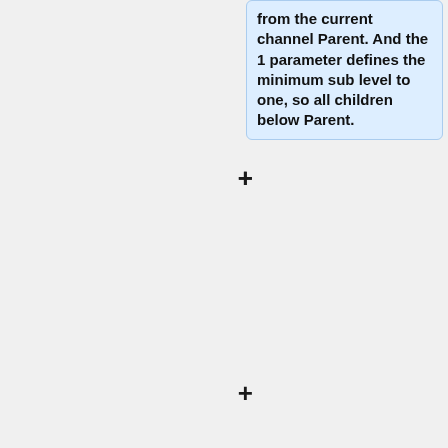from the current channel Parent. And the 1 parameter defines the minimum sub level to one, so all children below Parent.
The third rule has no ~, so the rule will apply in the context of the current channel. It